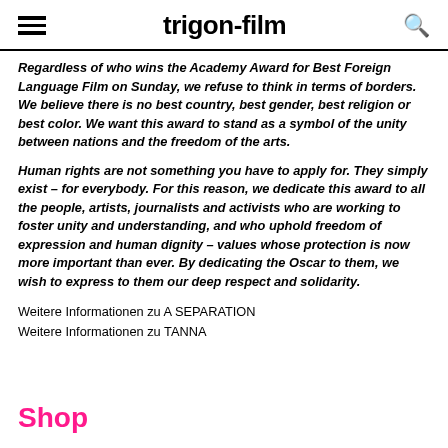trigon-film
Regardless of who wins the Academy Award for Best Foreign Language Film on Sunday, we refuse to think in terms of borders. We believe there is no best country, best gender, best religion or best color. We want this award to stand as a symbol of the unity between nations and the freedom of the arts.
Human rights are not something you have to apply for. They simply exist – for everybody. For this reason, we dedicate this award to all the people, artists, journalists and activists who are working to foster unity and understanding, and who uphold freedom of expression and human dignity – values whose protection is now more important than ever. By dedicating the Oscar to them, we wish to express to them our deep respect and solidarity.
Weitere Informationen zu A SEPARATION
Weitere Informationen zu TANNA
Shop